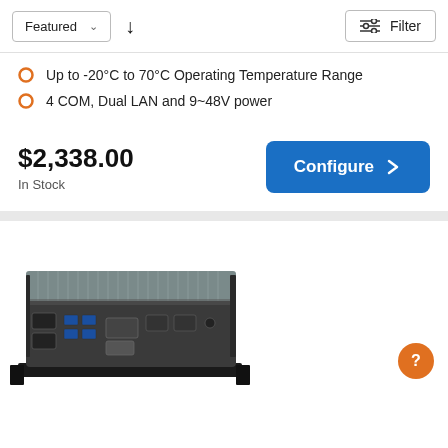Featured ↓  Filter
Up to -20°C to 70°C Operating Temperature Range
4 COM, Dual LAN and 9~48V power
$2,338.00
In Stock
[Figure (screenshot): Configure button (blue, rounded rectangle) with right chevron arrow]
[Figure (photo): Industrial fanless embedded box PC with ribbed aluminum top, front panel showing COM ports, USB ports, DVI, LAN, and VGA connectors, mounted on a rack bracket]